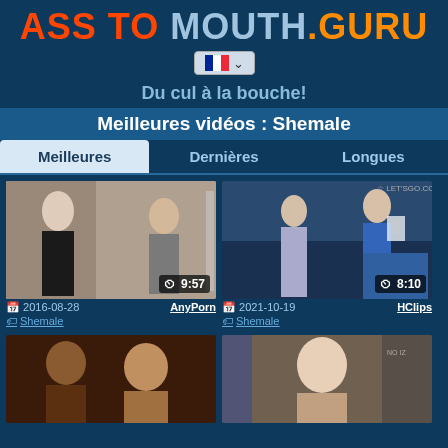ASS TO MOUTH.GURU
[Figure (other): French flag icon with dropdown arrow]
Du cul à la bouche!
Meilleures vidéos : Shemale
Meilleures
Dernières
Longues
[Figure (photo): Video thumbnail 1: two people indoors, duration 9:57, date 2016-08-28, source AnyPorn, tag Shemale]
[Figure (photo): Video thumbnail 2: two people on couch, duration 8:10, date 2021-10-19, source HClips, tag Shemale]
[Figure (photo): Video thumbnail 3: partial view bottom left]
[Figure (photo): Video thumbnail 4: partial view bottom right]